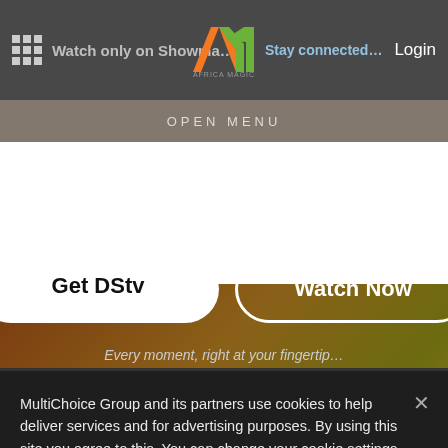[Figure (screenshot): Africa Magic website header with navigation bar showing grid icon, Watch only on Showmax text, Africa Magic logo (AM), Stay connected text, and Login button]
OPEN MENU
[Figure (screenshot): Hero section with brownish-olive gradient background containing Get DStv and Watch Now buttons]
Every moment, right at your fingertip
MultiChoice Group and its partners use cookies to help deliver services and for advertising purposes. By using this site you agree to this. You can change your cookie settings by clicking on Manage Cookies in the footer of the page. For more information, see our Privacy Policy
Cookies Settings
Accept All Cookies